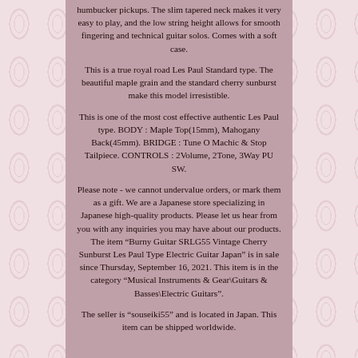humbucker pickups. The slim tapered neck makes it very easy to play, and the low string height allows for smooth fingering and technical guitar solos. Comes with a soft case.
This is a true royal road Les Paul Standard type. The beautiful maple grain and the standard cherry sunburst make this model irresistible.
This is one of the most cost effective authentic Les Paul type. BODY : Maple Top(15mm), Mahogany Back(45mm). BRIDGE : Tune O Machic & Stop Tailpiece. CONTROLS : 2Volume, 2Tone, 3Way PU SW.
Please note - we cannot undervalue orders, or mark them as a gift. We are a Japanese store specializing in Japanese high-quality products. Please let us hear from you with any inquiries you may have about our products. The item "Burny Guitar SRLG55 Vintage Cherry Sunburst Les Paul Type Electric Guitar Japan" is in sale since Thursday, September 16, 2021. This item is in the category "Musical Instruments & Gear\Guitars & Basses\Electric Guitars".
The seller is "souseiki55" and is located in Japan. This item can be shipped worldwide.